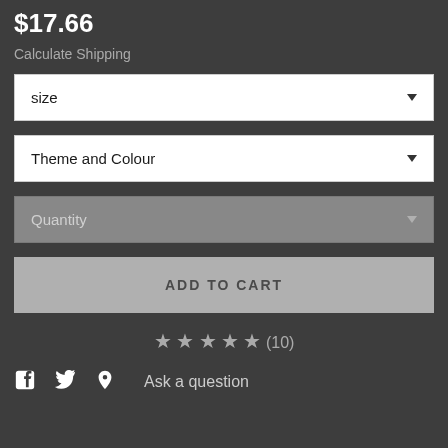$17.66
Calculate Shipping
size
Theme and Colour
Quantity
ADD TO CART
★★★★★(10)
Ask a question